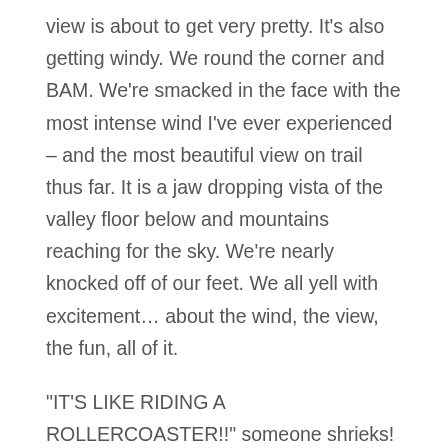view is about to get very pretty. It's also getting windy. We round the corner and BAM. We're smacked in the face with the most intense wind I've ever experienced – and the most beautiful view on trail thus far. It is a jaw dropping vista of the valley floor below and mountains reaching for the sky. We're nearly knocked off of our feet. We all yell with excitement… about the wind, the view, the fun, all of it.
"IT'S LIKE RIDING A ROLLERCOASTER!!" someone shrieks!
We're doubled over in laughter, but also